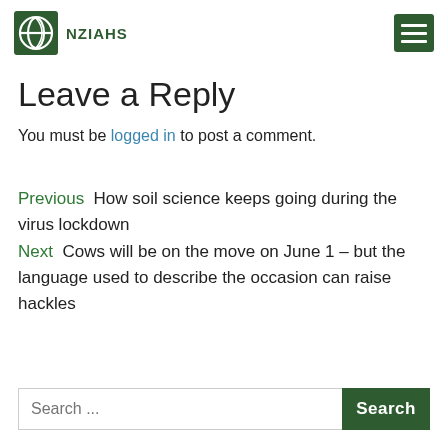NZIAHS
Leave a Reply
You must be logged in to post a comment.
Previous  How soil science keeps going during the virus lockdown
Next  Cows will be on the move on June 1 – but the language used to describe the occasion can raise hackles